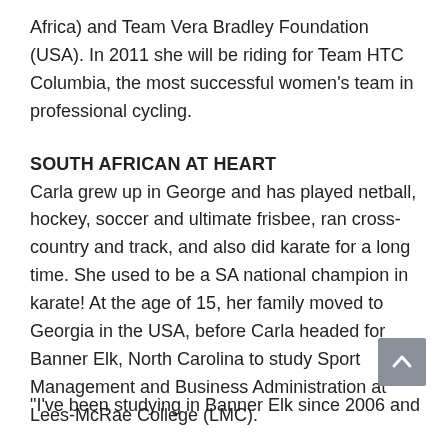Africa) and Team Vera Bradley Foundation (USA). In 2011 she will be riding for Team HTC Columbia, the most successful women's team in professional cycling.
SOUTH AFRICAN AT HEART
Carla grew up in George and has played netball, hockey, soccer and ultimate frisbee, ran cross-country and track, and also did karate for a long time. She used to be a SA national champion in karate! At the age of 15, her family moved to Georgia in the USA, before Carla headed for Banner Elk, North Carolina to study Sport Management and Business Administration at Lees-McRae College (LMC).
[Figure (other): Back to top button arrow]
"I've been studying in Banner Elk since 2006 and